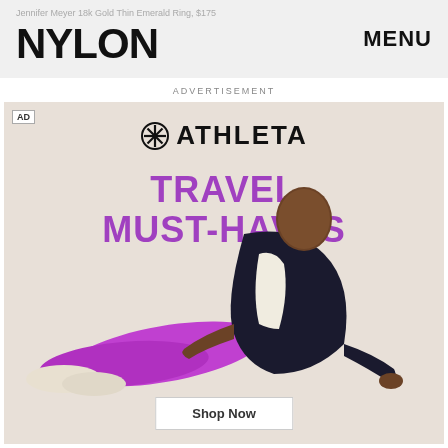Jennifer Meyer 18k Gold Thin Emerald Ring, $175
NYLON
MENU
ADVERTISEMENT
[Figure (photo): Athleta advertisement featuring a woman in purple leggings and black cardigan sitting on the floor. Text reads 'ATHLETA TRAVEL MUST-HAVES' with a Shop Now button at the bottom.]